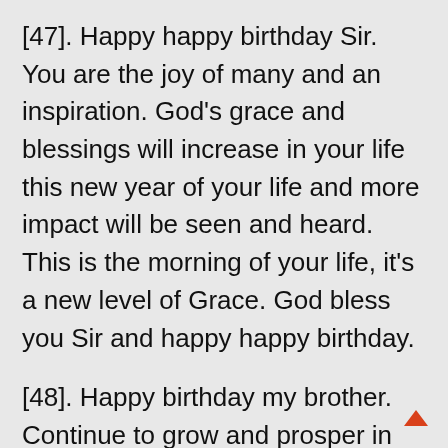[47]. Happy happy birthday Sir. You are the joy of many and an inspiration. God's grace and blessings will increase in your life this new year of your life and more impact will be seen and heard. This is the morning of your life, it's a new level of Grace. God bless you Sir and happy happy birthday.
[48]. Happy birthday my brother. Continue to grow and prosper in grace. Yours had indeed been a life journey evident of the grace of the Almighty.